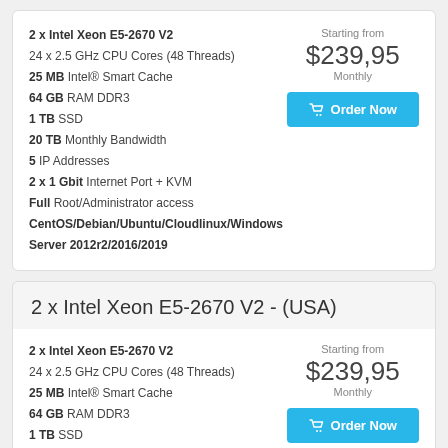2 x Intel Xeon E5-2670 V2
24 x 2.5 GHz CPU Cores (48 Threads)
25 MB Intel® Smart Cache
64 GB RAM DDR3
1 TB SSD
20 TB Monthly Bandwidth
5 IP Addresses
2 x 1 Gbit Internet Port + KVM
Full Root/Administrator access
CentOS/Debian/Ubuntu/Cloudlinux/Windows Server 2012r2/2016/2019
Starting from $239,95 Monthly
2 x Intel Xeon E5-2670 V2 - (USA)
2 x Intel Xeon E5-2670 V2
24 x 2.5 GHz CPU Cores (48 Threads)
25 MB Intel® Smart Cache
64 GB RAM DDR3
1 TB SSD
20 TB Monthly Bandwidth
5 IP Addresses
Starting from $239,95 Monthly